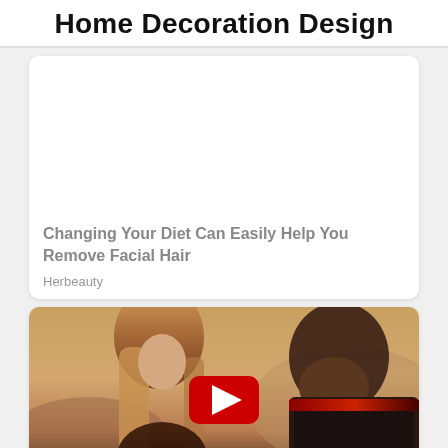Home Decoration Design
[Figure (other): White image placeholder area above article card]
Changing Your Diet Can Easily Help You Remove Facial Hair
Herbeauty
[Figure (photo): Video thumbnail showing two people in a convertible car at golden hour, with a YouTube play button overlay]